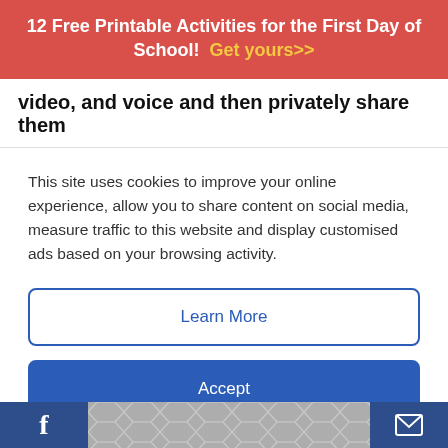12 Free Printable Activities for the First Day of School! Get yours>>
video, and voice and then privately share them
This site uses cookies to improve your online experience, allow you to share content on social media, measure traffic to this website and display customised ads based on your browsing activity.
Learn More
Accept
[Figure (photo): Partial view of a room with a stuffed lion toy on a white surface, flanked by green vertical bar elements and a close (X) button on the right.]
[Figure (infographic): Bottom navigation bar with Facebook icon on the left, chevron/hexagon tile pattern in center, and email/envelope icon on the right.]